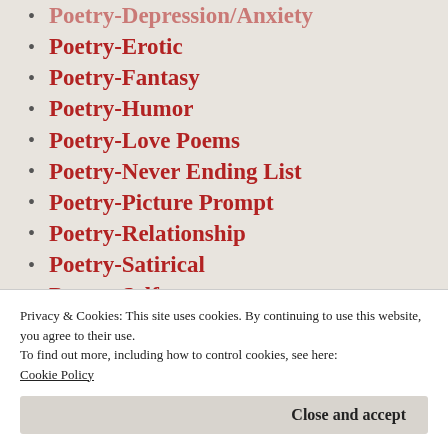Poetry-Depression/Anxiety
Poetry-Erotic
Poetry-Fantasy
Poetry-Humor
Poetry-Love Poems
Poetry-Never Ending List
Poetry-Picture Prompt
Poetry-Relationship
Poetry-Satirical
Poetry-Self
Poetry-Story
Privacy & Cookies: This site uses cookies. By continuing to use this website, you agree to their use.
To find out more, including how to control cookies, see here: Cookie Policy
Close and accept